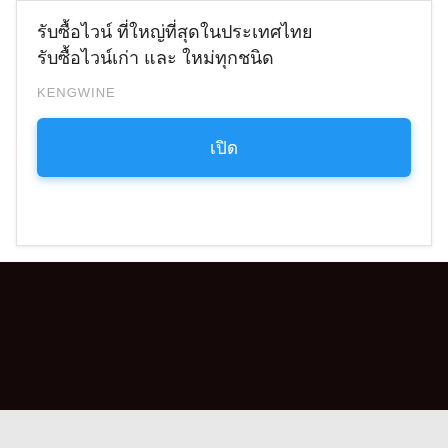รับซื้อไวน์ ที่ใหญ่ที่สุดในประเทศไทย รับซื้อไวน์เก่า และ ใหม่ทุกชนิด
KENGWINE
เปิด
[Figure (screenshot): Dark brownish-black background section, possibly a video or image placeholder]
×